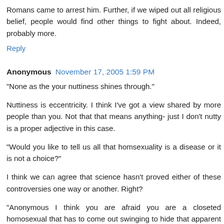Romans came to arrest him. Further, if we wiped out all religious belief, people would find other things to fight about. Indeed, probably more.
Reply
Anonymous  November 17, 2005 1:59 PM
"None as the your nuttiness shines through."
Nuttiness is eccentricity. I think I've got a view shared by more people than you. Not that that means anything- just I don't nutty is a proper adjective in this case.
"Would you like to tell us all that homsexuality is a disease or it is not a choice?"
I think we can agree that science hasn't proved either of these controversies one way or another. Right?
"Anonymous I think you are afraid you are a closeted homosexual that has to come out swinging to hide that apparent fact."